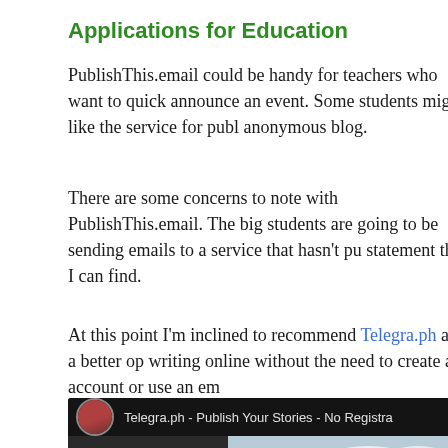Applications for Education
PublishThis.email could be handy for teachers who want to quickly announce an event. Some students might like the service for publishing an anonymous blog.
There are some concerns to note with PublishThis.email. The big one is students are going to be sending emails to a service that hasn't published a privacy statement that I can find.
At this point I'm inclined to recommend Telegra.ph as a better option for writing online without the need to create an account or use an email address.
[Figure (screenshot): YouTube video thumbnail showing 'Telegra.ph - Publish Your Stories - No Registration' with a decorated pysanka egg in the thumbnail]